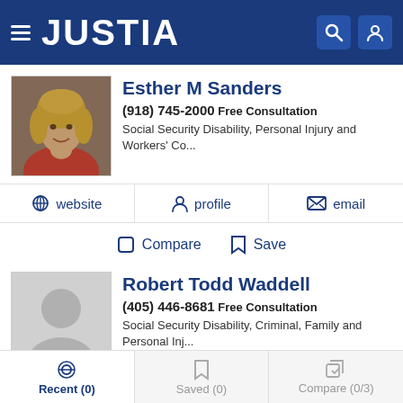JUSTIA
Esther M Sanders
(918) 745-2000 Free Consultation
Social Security Disability, Personal Injury and Workers' Co...
website  profile  email
Compare  Save
Robert Todd Waddell
(405) 446-8681 Free Consultation
Social Security Disability, Criminal, Family and Personal Inj...
website  profile  email
Recent (0)  Saved (0)  Compare (0/3)